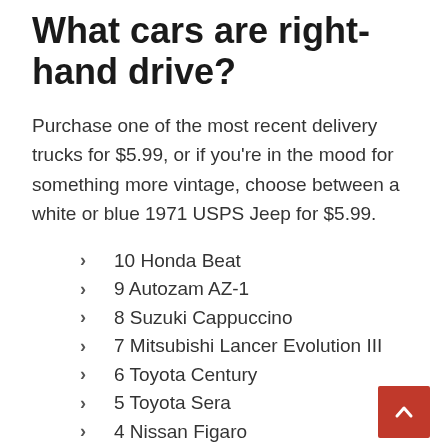What cars are right-hand drive?
Purchase one of the most recent delivery trucks for $5.99, or if you're in the mood for something more vintage, choose between a white or blue 1971 USPS Jeep for $5.99.
10 Honda Beat
9 Autozam AZ-1
8 Suzuki Cappuccino
7 Mitsubishi Lancer Evolution III
6 Toyota Century
5 Toyota Sera
4 Nissan Figaro
3 Mitsubishi Delica